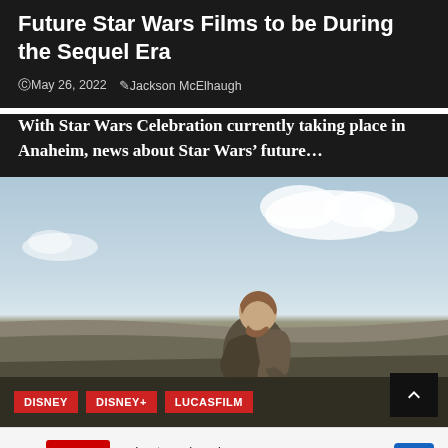Future Star Wars Films to be During the Sequel Era
©May 26, 2022  Jackson McElhaugh
With Star Wars Celebration currently taking place in Anaheim, news about Star Wars' future...
[Figure (photo): A man in robes sitting outdoors against a sky background, with tags DISNEY, DISNEY+, LUCASFILM at the bottom left]
DISNEY   DISNEY+   LUCASFILM
[Figure (other): CVS pharmacy advertisement showing In-store shopping, Drive-through, and Delivery options with a navigation icon]